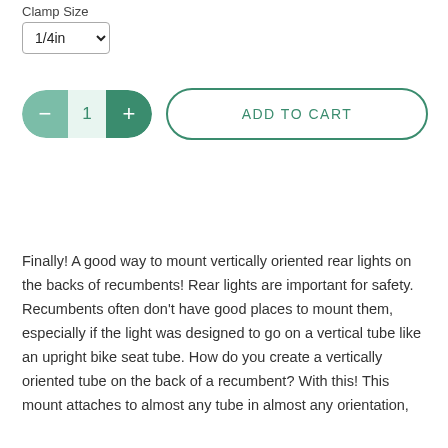Clamp Size
1/4in
1  ADD TO CART
Finally! A good way to mount vertically oriented rear lights on the backs of recumbents! Rear lights are important for safety. Recumbents often don't have good places to mount them, especially if the light was designed to go on a vertical tube like an upright bike seat tube. How do you create a vertically oriented tube on the back of a recumbent? With this! This mount attaches to almost any tube in almost any orientation, and allows you to create a vertically oriented tube sticking